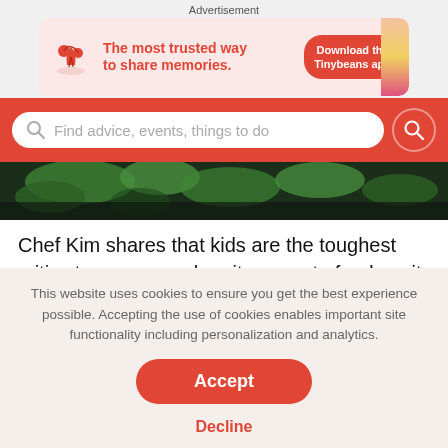Advertisement
[Figure (infographic): Tinybeans app advertisement banner: red cherry/plant icon on left, red bold text 'The most trusted way to share memories.' in center, red 'Download the Tinybeans app' button on right, pink/peach background]
[Figure (screenshot): Red search bar with magnifying glass icon, placeholder text 'Find advice, events, things to do', and a red circular search button on the right]
[Figure (photo): Dark photo strip showing green leaves/plants, close-up nature photography]
Chef Kim shares that kids are the toughest critics to appease when it comes to food, so it really means a lot that so many kids are excited about the dishes in the restaurant. From
This website uses cookies to ensure you get the best experience possible. Accepting the use of cookies enables important site functionality including personalization and analytics.
Accept
Decline